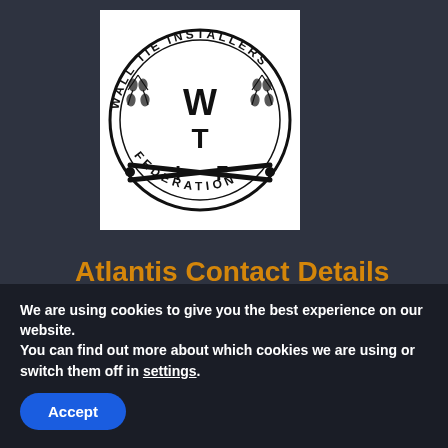[Figure (logo): Wall Tie Installers Federation circular logo with WTI letters in center, decorative border with leaf/branch motifs and crossed tools at bottom]
Atlantis Contact Details
Atlantis Property Preservation Ltd
67 Hadrian Way
We are using cookies to give you the best experience on our website.
You can find out more about which cookies we are using or switch them off in settings.
Accept